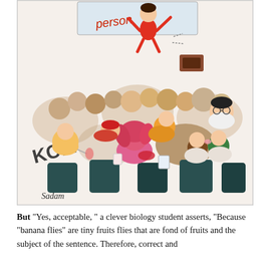[Figure (illustration): A colorful cartoon illustration showing a chaotic classroom or lecture scene. At the top, a teacher or presenter figure in red is jumping or floating near a whiteboard with 'person' written on it. Below, a crowd of students with various hair colors (yellow, red, pink, green, brown) are distracted — some are kissing, some are drinking, some sleeping. The word 'KOM' appears on the left side. The illustration is signed 'Sadam' at the bottom left.]
But "Yes, acceptable, " a clever biology student asserts, "Because "banana flies" are tiny fruits flies that are fond of fruits and the subject of the sentence. Therefore, correct and